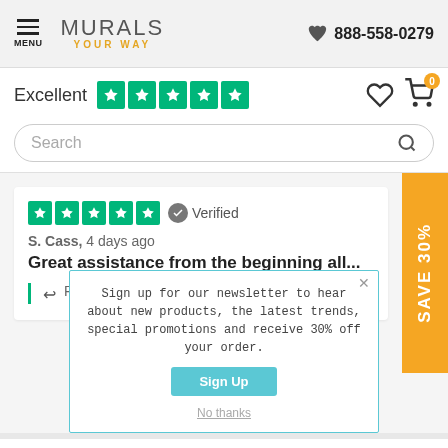MURALS YOUR WAY | 888-558-0279
Excellent (5 stars)
Search
★★★★★ ✓ Verified
S. Cass, 4 days ago
Great assistance from the beginning all...
↩ Reply from Murals Your Way    23 hours ago
Read more
SAVE 30%
Sign up for our newsletter to hear about new products, the latest trends, special promotions and receive 30% off your order.
Sign Up
No thanks